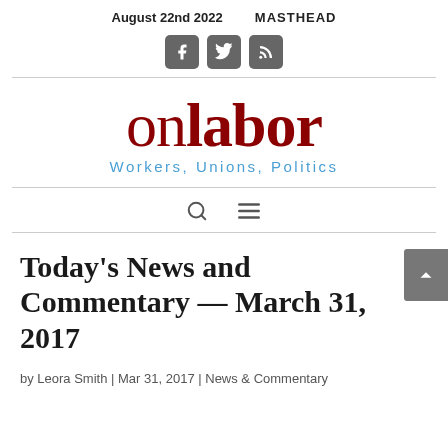August 22nd 2022   MASTHEAD
[Figure (logo): Social media icons: Facebook, Twitter, RSS feed]
[Figure (logo): OnLabor logo — 'on' in light weight, 'labor' in bold, dark red; tagline 'Workers, Unions, Politics' in light blue]
[Figure (other): Navigation bar with search icon and hamburger menu icon]
Today's News and Commentary — March 31, 2017
by Leora Smith | Mar 31, 2017 | News & Commentary